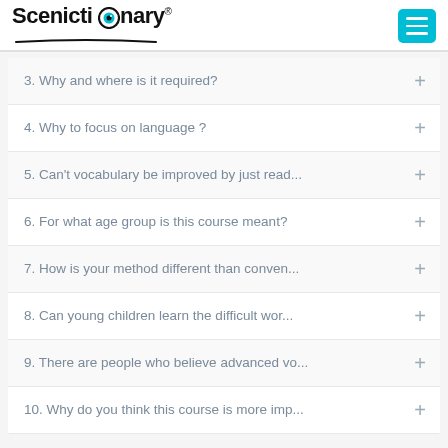Scenictionary®
3. Why and where is it required?
4. Why to focus on language ?
5. Can't vocabulary be improved by just read...
6. For what age group is this course meant?
7. How is your method different than conven...
8. Can young children learn the difficult wor...
9. There are people who believe advanced vo...
10. Why do you think this course is more imp...